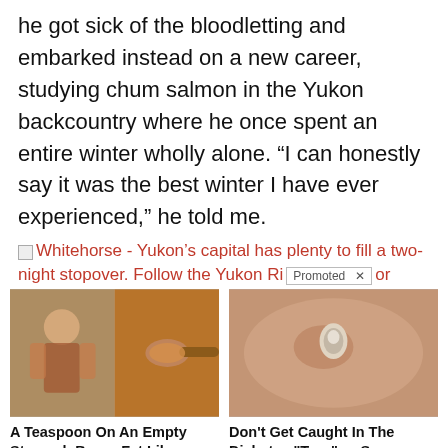he got sick of the bloodletting and embarked instead on a new career, studying chum salmon in the Yukon backcountry where he once spent an entire winter wholly alone. “I can honestly say it was the best winter I have ever experienced,” he told me.
Whitehorse - Yukon’s capital has plenty to fill a two-night stopover. Follow the Yukon Ri [Promoted X] or
[Figure (photo): Advertisement image: fitness person and spice on a spoon]
A Teaspoon On An Empty Stomach Burns Fat Like Crazy!
🔥 131,383
[Figure (photo): Advertisement image: close-up medical/skin image]
Don't Get Caught In The Diabetes "Trap" — Some Simple, Natural Formulas Can Help
🔥 260